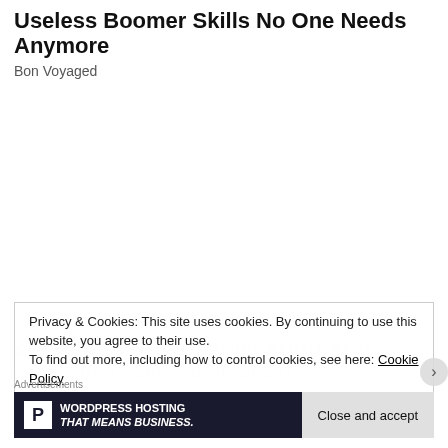[Figure (photo): A young woman with dark curly hair lying on a pink/magenta satin sofa, wearing a black long-sleeve top and blue jeans with a clear belt.]
Useless Boomer Skills No One Needs Anymore
Bon Voyaged
Privacy & Cookies: This site uses cookies. By continuing to use this website, you agree to their use.
To find out more, including how to control cookies, see here: Cookie Policy
Advertisements
WORDPRESS HOSTING THAT MEANS BUSINESS.
Close and accept